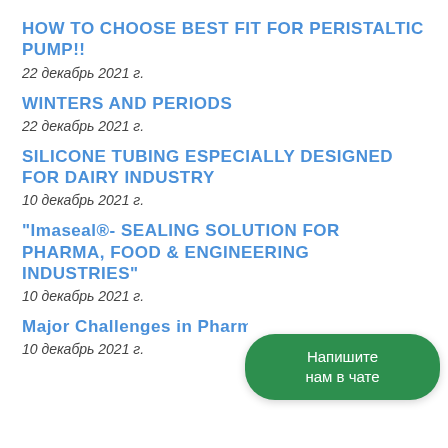HOW TO CHOOSE BEST FIT FOR PERISTALTIC PUMP!!
22 декабрь 2021 г.
WINTERS AND PERIODS
22 декабрь 2021 г.
SILICONE TUBING ESPECIALLY DESIGNED FOR DAIRY INDUSTRY
10 декабрь 2021 г.
“Imaseal®- SEALING SOLUTION FOR PHARMA, FOOD & ENGINEERING INDUSTRIES”
10 декабрь 2021 г.
Major Challenges in Pharmac…
10 декабрь 2021 г.